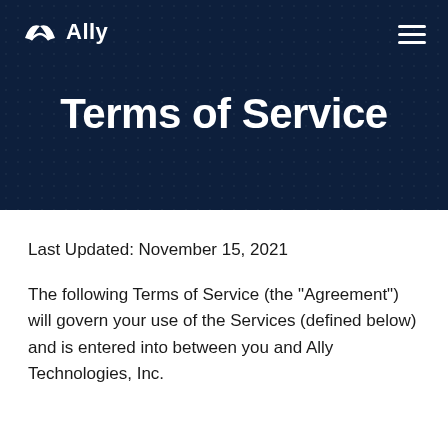Ally
Terms of Service
Last Updated: November 15, 2021
The following Terms of Service (the "Agreement") will govern your use of the Services (defined below) and is entered into between you and Ally Technologies, Inc.